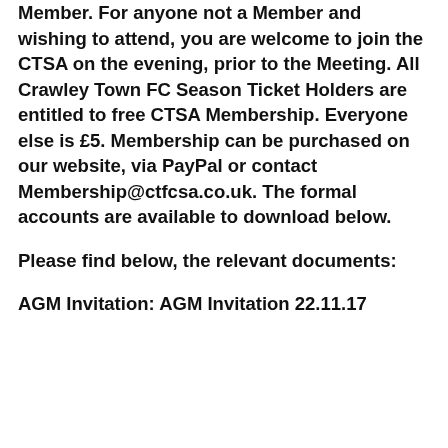Member.  For anyone not a Member and wishing to attend, you are welcome to join the CTSA on the evening, prior to the Meeting.  All Crawley Town FC Season Ticket Holders are entitled to free CTSA Membership.  Everyone else is £5.  Membership can be purchased on our website, via PayPal or contact Membership@ctfcsa.co.uk.  The formal accounts are available to download below.
Please find below, the relevant documents:
AGM Invitation:  AGM Invitation 22.11.17